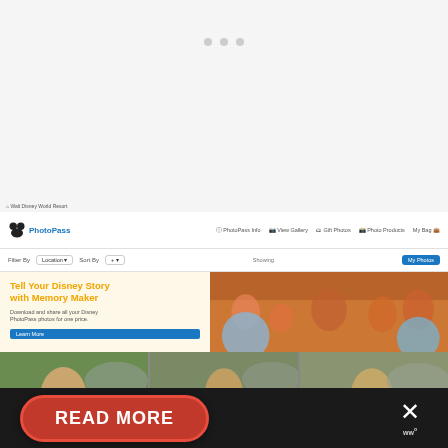[Figure (screenshot): Top gray area with three small dots centered near top]
[Figure (screenshot): Screenshot of Disney PhotoPass website showing navbar with Mickey Mouse logo and PhotoPass branding, filter bar with Location and Sort By dropdowns and My Photos button highlighted in blue, a hero banner with 'Tell Your Disney Story with Memory Maker' in orange text with description and Learn More button on cream background with family photo on right side, and a photo strip below showing three images of a young man at what appears to be a Star Wars themed area]
[Figure (screenshot): Bottom dark bar with red rounded READ MORE button and X close button with ww logo on right]